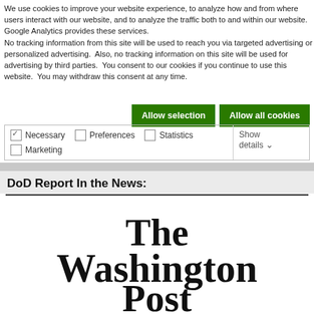We use cookies to improve your website experience, to analyze how and from where users interact with our website, and to analyze the traffic both to and within our website. Google Analytics provides these services. No tracking information from this site will be used to reach you via targeted advertising or personalized advertising. Also, no tracking information on this site will be used for advertising by third parties. You consent to our cookies if you continue to use this website. You may withdraw this consent at any time.
[Figure (screenshot): Two green buttons: 'Allow selection' and 'Allow all cookies']
| Necessary | Preferences | Statistics | Show details |
| --- | --- | --- | --- |
| checked |  |  |  |
| Marketing |  |  |  |
DoD Report In the News:
[Figure (logo): The Washington Post logo in blackletter/gothic typeface]